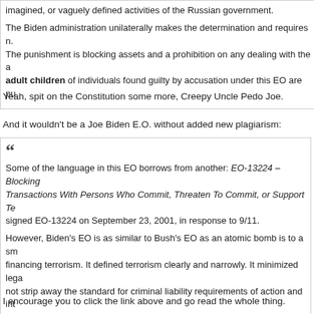imagined, or vaguely defined activities of the Russian government.
The Biden administration unilaterally makes the determination and requires n. The punishment is blocking assets and a prohibition on any dealing with the a adult children of individuals found guilty by accusation under this EO are pu
Yeah, spit on the Constitution some more, Creepy Uncle Pedo Joe.
And it wouldn't be a Joe Biden E.O. without added new plagiarism:
Some of the language in this EO borrows from another: EO-13224 – Blocking Transactions With Persons Who Commit, Threaten To Commit, or Support Te signed EO-13224 on September 23, 2001, in response to 9/11.
However, Biden's EO is as similar to Bush's EO as an atomic bomb is to a sm financing terrorism. It defined terrorism clearly and narrowly. It minimized lega not strip away the standard for criminal liability requirements of action and int children of accused individuals. Additionally, Bush made a legally meaningful regard to culpability and the Bush administration used it with restraint. Even s harshly, opposed it, and fought it in courts.
In contrast, Biden's new EO is directed mostly at US persons. It criminalizes s based on whimsical and arbitrary definitions. The Biden administration can de “democratic processes or institutions,” and the activities that undermine them
I encourage you to click the link above and go read the whole thing.